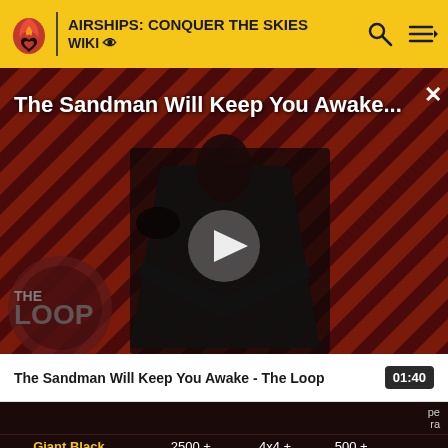AIRSHIPS: CONQUER THE SKIES WIKI
[Figure (screenshot): Video player overlay showing 'The Sandman Will Keep You Awake...' with a dark figure in a black cloak against a diagonal red and black striped background, with 'THE LOOP' logo visible at the bottom left and a play button in the center.]
The Sandman Will Keep You Awake - The Loop  01:40
|  |  |  |  |  | pe ra |
| --- | --- | --- | --- | --- | --- |
|  | Giant Black | 2500 + | 4x4 + | 500 + |  |